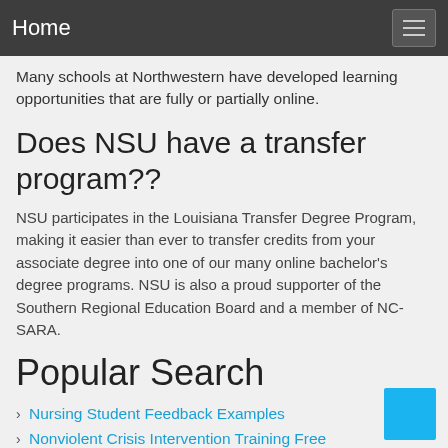Home
Many schools at Northwestern have developed learning opportunities that are fully or partially online.
Does NSU have a transfer program??
NSU participates in the Louisiana Transfer Degree Program, making it easier than ever to transfer credits from your associate degree into one of our many online bachelor’s degree programs. NSU is also a proud supporter of the Southern Regional Education Board and a member of NC-SARA.
Popular Search
› Nursing Student Feedback Examples
› Nonviolent Crisis Intervention Training Free